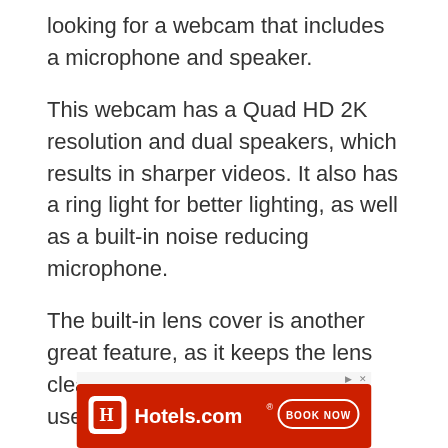looking for a webcam that includes a microphone and speaker.
This webcam has a Quad HD 2K resolution and dual speakers, which results in sharper videos. It also has a ring light for better lighting, as well as a built-in noise reducing microphone.
The built-in lens cover is another great feature, as it keeps the lens clean and protected when not in use.
The flexible tripod stand ensures that you can position the webcam however you want, and it's also Plug and Play so you can start using it right away.
[Figure (other): Hotels.com advertisement banner with red background, hotel icon, Hotels.com logo, and BOOK NOW button]